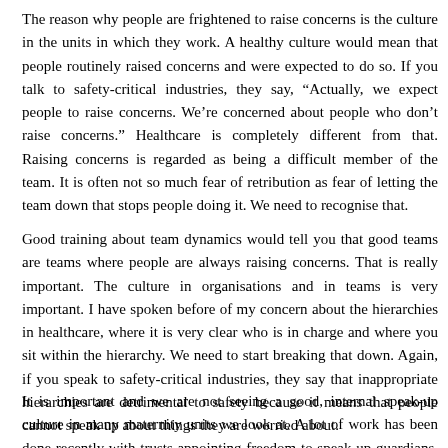The reason why people are frightened to raise concerns is the culture in the units in which they work. A healthy culture would mean that people routinely raised concerns and were expected to do so. If you talk to safety-critical industries, they say, "Actually, we expect people to raise concerns. We're concerned about people who don't raise concerns." Healthcare is completely different from that. Raising concerns is regarded as being a difficult member of the team. It is often not so much fear of retribution as fear of letting the team down that stops people doing it. We need to recognise that.
Good training about team dynamics would tell you that good teams are teams where people are always raising concerns. That is really important. The culture in organisations and in teams is very important. I have spoken before of my concern about the hierarchies in healthcare, where it is very clear who is in charge and where you sit within the hierarchy. We need to start breaking that down. Again, if you speak to safety-critical industries, they say that inappropriate hierarchies are detrimental to safety because it means that people cannot speak up about things they are worried about.
It is important and we are not seeing a good, internal speak-up culture in many maternity units we look at. A lot of work has been done recently with trusts appointing freedom to speak up guardians. We welcome that, but a lot more work needs to be done on it. That has to be central to driving the right culture.